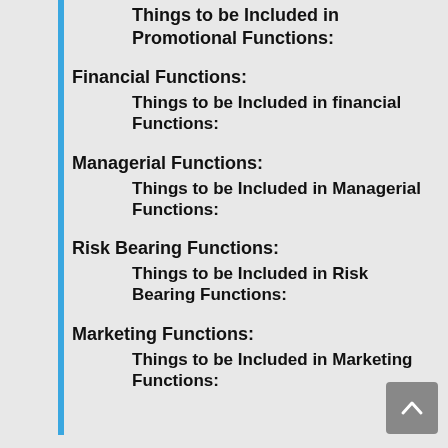Things to be Included in Promotional Functions:
Financial Functions:
Things to be Included in financial Functions:
Managerial Functions:
Things to be Included in Managerial Functions:
Risk Bearing Functions:
Things to be Included in Risk Bearing Functions:
Marketing Functions:
Things to be Included in Marketing Functions: